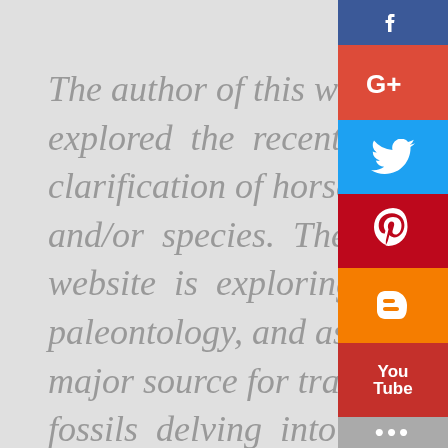The author of this webpage has explored the recent activity clarification of horse evolution, ge and/or species. The scope of website is exploring Geo paleontology, and as Georgia is major source for transitional f fossils delving into the com natural history of horses falls beyond that scope.
[Figure (infographic): Social media share buttons sidebar on the right: Facebook (blue), Google+ (red), Twitter (blue), Pinterest (red), Blogger (orange), YouTube (red), More (gray with dots)]